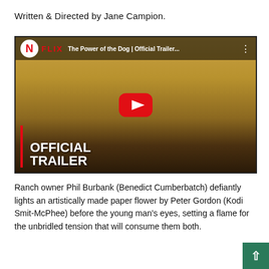Written & Directed by Jane Campion.
[Figure (screenshot): YouTube video thumbnail for 'The Power of the Dog | Official Trailer...' on Netflix channel, showing two men in a field — one young man in a light shirt and one older man in dark clothing leaning against a tree with a hay-covered background. Overlaid with YouTube play button, Netflix branding, and text 'OFFICIAL TRAILER'.]
Ranch owner Phil Burbank (Benedict Cumberbatch) defiantly lights an artistically made paper flower by Peter Gordon (Kodi Smit-McPhee) before the young man's eyes, setting a flame for the unbridled tension that will consume them both.